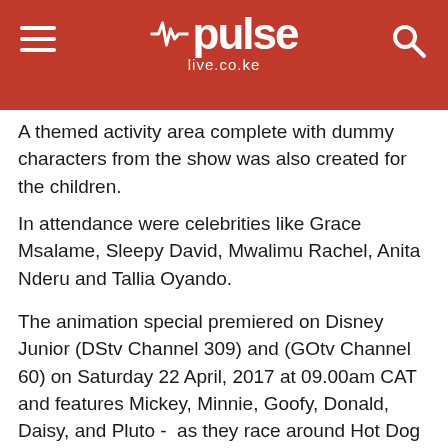pulse live.co.ke
A themed activity area complete with dummy characters from the show was also created for the children.
In attendance were celebrities like Grace Msalame, Sleepy David, Mwalimu Rachel, Anita Nderu and Tallia Oyando.
The animation special premiered on Disney Junior (DStv Channel 309) and (GOtv Channel 60) on Saturday 22 April, 2017 at 09.00am CAT and features Mickey, Minnie, Goofy, Donald, Daisy, and Pluto -  as they race around Hot Dog Hills and around the world.
[Figure (photo): Author photo of Susan Watiri — woman with glasses and pink lipstick]
SUSAN WATIRI
MORE FROM THE AUTHOR »
[Figure (other): Social media sharing icons row: Facebook, Twitter, Whatsapp, other]